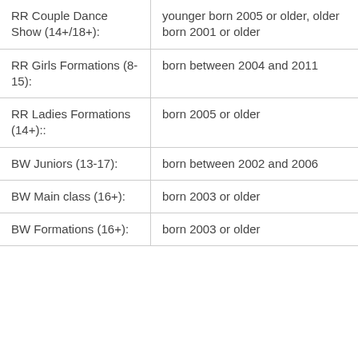| Category | Eligibility |
| --- | --- |
| RR Couple Dance Show (14+/18+): | younger born 2005 or older, older born 2001 or older |
| RR Girls Formations (8-15): | born between 2004 and 2011 |
| RR Ladies Formations (14+):: | born 2005 or older |
| BW Juniors (13-17): | born between 2002 and 2006 |
| BW Main class (16+): | born 2003 or older |
| BW Formations (16+): | born 2003 or older |